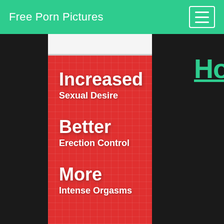Free Porn Pictures
[Figure (advertisement): Red grid-patterned advertisement banner with white text: 'Increased Sexual Desire', 'Better Erection Control', 'More Intense Orgasms']
Ho